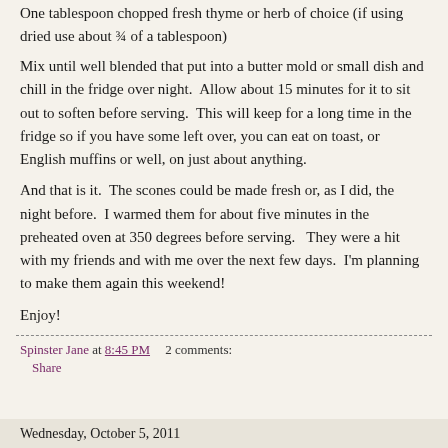One tablespoon chopped fresh thyme or herb of choice (if using dried use about ¾ of a tablespoon)
Mix until well blended that put into a butter mold or small dish and chill in the fridge over night.  Allow about 15 minutes for it to sit out to soften before serving.  This will keep for a long time in the fridge so if you have some left over, you can eat on toast, or English muffins or well, on just about anything.
And that is it.  The scones could be made fresh or, as I did, the night before.  I warmed them for about five minutes in the preheated oven at 350 degrees before serving.   They were a hit with my friends and with me over the next few days.  I'm planning to make them again this weekend!
Enjoy!
Spinster Jane at 8:45 PM    2 comments:   Share
Wednesday, October 5, 2011